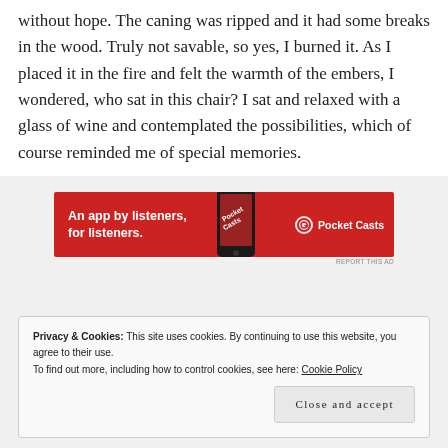without hope. The caning was ripped and it had some breaks in the wood. Truly not savable, so yes, I burned it. As I placed it in the fire and felt the warmth of the embers, I wondered, who sat in this chair? I sat and relaxed with a glass of wine and contemplated the possibilities, which of course reminded me of special memories.
[Figure (other): Pocket Casts advertisement banner. Red background with white bold text 'An app by listeners, for listeners.' and a smartphone image on the right with the Pocket Casts logo.]
Privacy & Cookies: This site uses cookies. By continuing to use this website, you agree to their use.
To find out more, including how to control cookies, see here: Cookie Policy
Close and accept